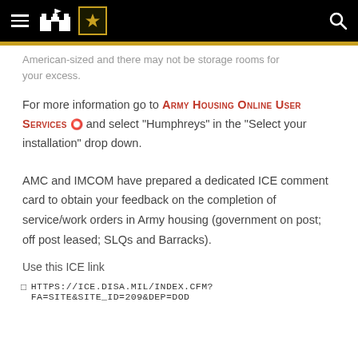[Navigation bar with hamburger menu, Army installation icon, US Army star logo, and search icon]
American-sized and there may not be storage rooms for your excess.
For more information go to Army Housing Online User Services and select "Humphreys" in the "Select your installation" drop down.
AMC and IMCOM have prepared a dedicated ICE comment card to obtain your feedback on the completion of service/work orders in Army housing (government on post; off post leased; SLQs and Barracks).
Use this ICE link
https://ice.disa.mil/index.cfm?fa=site&site_id=209&dep=DoD